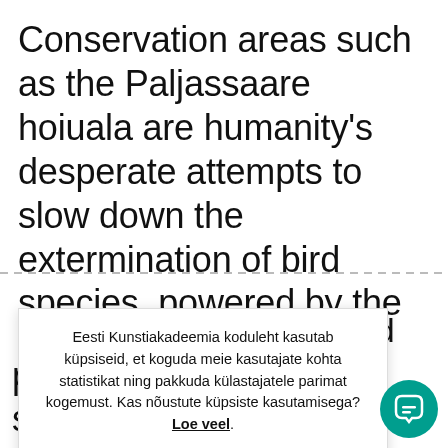Conservation areas such as the Paljassaare hoiuala are humanity's desperate attempts to slow down the extermination of bird species, powered by the exploitation of natural resources and so-called planetarbanisation. Inspired about n the bird arious ulture as ; bodily e of a drone n our position on Earth somewhere between
Eesti Kunstiakadeemia koduleht kasutab küpsiseid, et koguda meie kasutajate kohta statistikat ning pakkuda külastajatele parimat kogemust. Kas nõustute küpsiste kasutamisega? Loe veel.